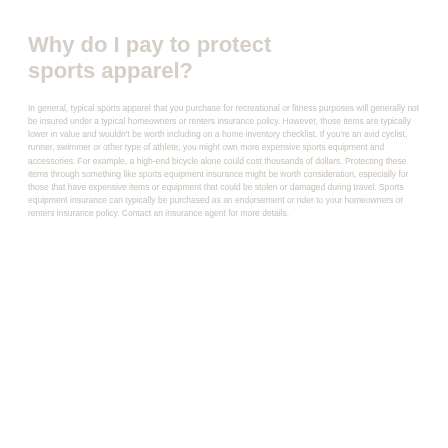Why do I pay to protect sports apparel?
In general, typical sports apparel that you purchase for recreational or fitness purposes will generally not be insured under a typical homeowners or renters insurance policy. However, those items are typically lower in value and wouldn't be worth including on a home inventory checklist. If you're an avid cyclist, runner, swimmer or other type of athlete, you might own more expensive sports equipment and accessories. For example, a high-end bicycle alone could cost thousands of dollars. Protecting these items through something like sports equipment insurance might be worth consideration, especially for those that have expensive items or equipment that could be stolen or damaged during travel. Sports equipment insurance can typically be purchased as an endorsement or rider to your homeowners or renters insurance policy. Contact an insurance agent for more details.